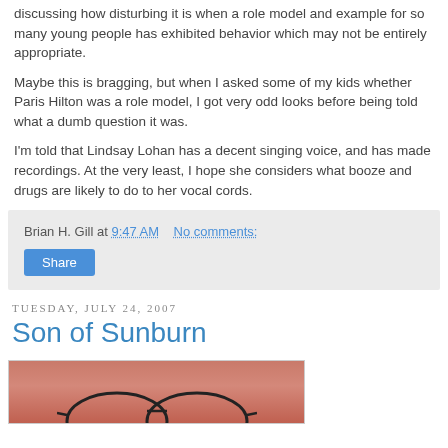discussing how disturbing it is when a role model and example for so many young people has exhibited behavior which may not be entirely appropriate.
Maybe this is bragging, but when I asked some of my kids whether Paris Hilton was a role model, I got very odd looks before being told what a dumb question it was.
I'm told that Lindsay Lohan has a decent singing voice, and has made recordings. At the very least, I hope she considers what booze and drugs are likely to do to her vocal cords.
Brian H. Gill at 9:47 AM    No comments:
Share
Tuesday, July 24, 2007
Son of Sunburn
[Figure (photo): Close-up photo of a person's sunburned head/scalp, with glasses frames visible at the bottom]